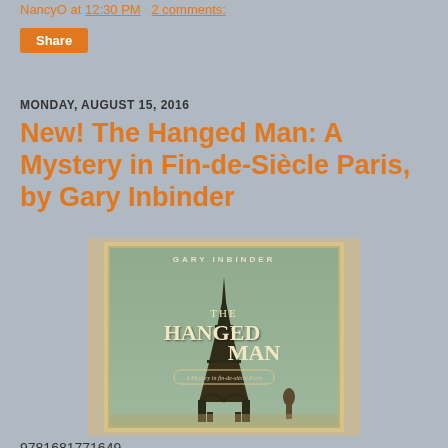NancyO at 12:30 PM   2 comments:
Share
MONDAY, AUGUST 15, 2016
New! The Hanged Man: A Mystery in Fin-de-Siècle Paris, by Gary Inbinder
[Figure (photo): Book cover of 'The Hanged Man: A Mystery in Fin-de-Siècle Paris' by Gary Inbinder, published by Pegasus Crime. Shows the Eiffel Tower with figures and ornate border design.]
9781681771649
Pegasus Crime, 2016